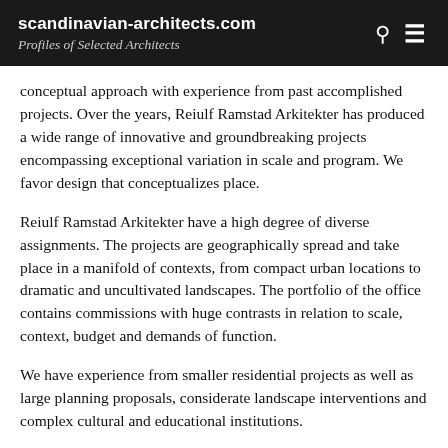scandinavian-architects.com
Profiles of Selected Architects
conceptual approach with experience from past accomplished projects. Over the years, Reiulf Ramstad Arkitekter has produced a wide range of innovative and groundbreaking projects encompassing exceptional variation in scale and program. We favor design that conceptualizes place.
Reiulf Ramstad Arkitekter have a high degree of diverse assignments. The projects are geographically spread and take place in a manifold of contexts, from compact urban locations to dramatic and uncultivated landscapes. The portfolio of the office contains commissions with huge contrasts in relation to scale, context, budget and demands of function.
We have experience from smaller residential projects as well as large planning proposals, considerate landscape interventions and complex cultural and educational institutions.
Place & context – A place is not simply an aggregate of physical elements and conditions. It is not an object, however complex, to be viewed as raw material for the architect's creative will. A place is indistinguishable in some way – discipline encompasses a range of h…